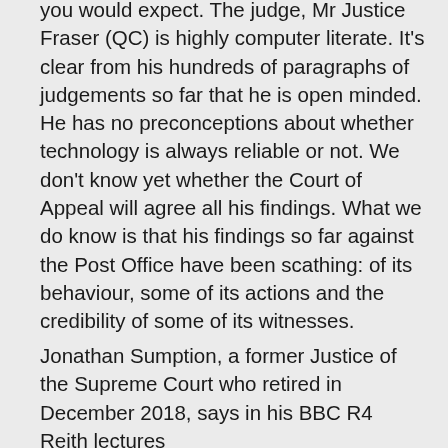you would expect. The judge, Mr Justice Fraser (QC) is highly computer literate. It's clear from his hundreds of paragraphs of judgements so far that he is open minded. He has no preconceptions about whether technology is always reliable or not. We don't know yet whether the Court of Appeal will agree all his findings. What we do know is that his findings so far against the Post Office have been scathing: of its behaviour, some of its actions and the credibility of some of its witnesses.
Jonathan Sumption, a former Justice of the Supreme Court who retired in December 2018, says in his BBC R4 Reith lectures